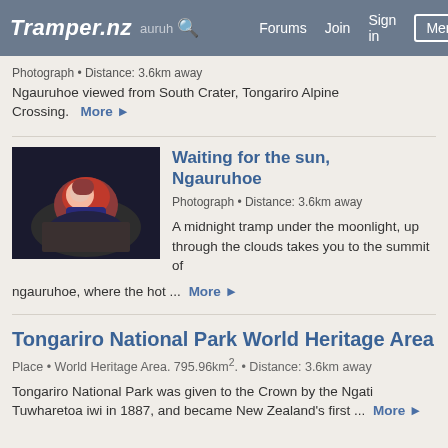Tramper.nz [search] Forums Join Sign in Menu
Photograph • Distance: 3.6km away
Ngauruhoe viewed from South Crater, Tongariro Alpine Crossing.  More ▶
[Figure (photo): Person in sleeping bag or outdoor gear lying against a rock in dark conditions, possibly at night on a mountain.]
Waiting for the sun, Ngauruhoe
Photograph • Distance: 3.6km away
A midnight tramp under the moonlight, up through the clouds takes you to the summit of ngauruhoe, where the hot ...  More ▶
Tongariro National Park World Heritage Area
Place • World Heritage Area. 795.96km². • Distance: 3.6km away
Tongariro National Park was given to the Crown by the Ngati Tuwharetoa iwi in 1887, and became New Zealand's first ...  More ▶